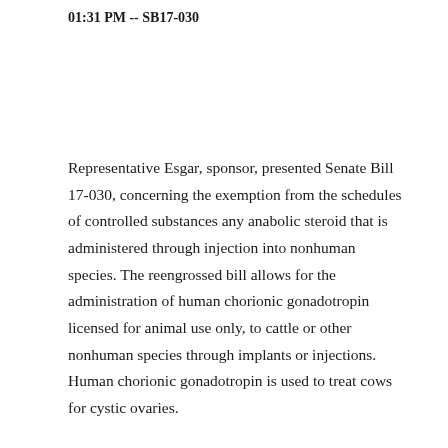01:31 PM -- SB17-030
Representative Esgar, sponsor, presented Senate Bill 17-030, concerning the exemption from the schedules of controlled substances any anabolic steroid that is administered through injection into nonhuman species. The reengrossed bill allows for the administration of human chorionic gonadotropin licensed for animal use only, to cattle or other nonhuman species through implants or injections. Human chorionic gonadotropin is used to treat cows for cystic ovaries.